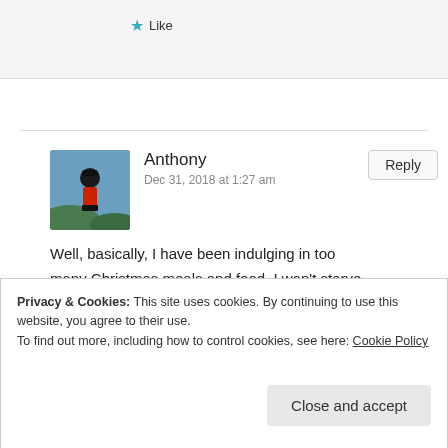★ Like
Anthony
Dec 31, 2018 at 1:27 am
Well, basically, I have been indulging in too many Christmas meals and food. I won't starve, but eating less should be a priority.
★ Like
Privacy & Cookies: This site uses cookies. By continuing to use this website, you agree to their use.
To find out more, including how to control cookies, see here: Cookie Policy
Close and accept